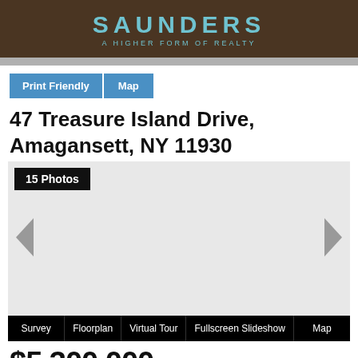[Figure (logo): Saunders real estate logo with brand name and tagline 'A Higher Form of Realty' on dark brown background]
47 Treasure Island Drive, Amagansett, NY 11930
[Figure (photo): Property photo slideshow area showing 15 Photos label and left/right navigation arrows on light gray background]
Survey | Floorplan | Virtual Tour | Fullscreen Slideshow | Map
$5,300,000 List Price